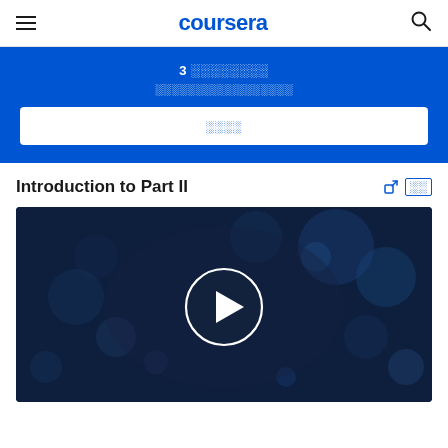coursera
3 ░░░░░░░░ ░░░░░░░░░░░░░░░░░
░░░░
Introduction to Part II
[Figure (screenshot): Video thumbnail with play button on a dark blue bokeh background. Title: Introduction to Part II.]